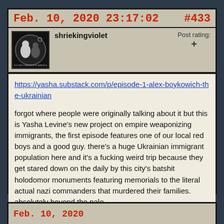Feb. 10, 2020 23:17:02   #433
shriekingviolet
Post rating: +
https://yasha.substack.com/p/episode-1-alex-boykowich-the-ukrainian
forgot where people were originally talking about it but this is Yasha Levine's new project on empire weaponizing immigrants, the first episode features one of our local red boys and a good guy. there's a huge Ukrainian immigrant population here and it's a fucking weird trip because they get stared down on the daily by this city's batshit holodomor monuments featuring memorials to the literal actual nazi commanders that murdered their families. absolutely beyond the pale